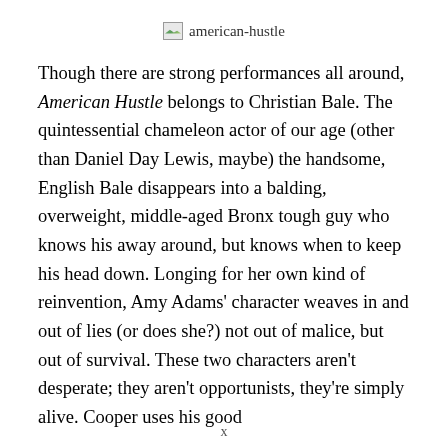[Figure (other): Broken image icon placeholder labeled 'american-hustle']
Though there are strong performances all around, American Hustle belongs to Christian Bale. The quintessential chameleon actor of our age (other than Daniel Day Lewis, maybe) the handsome, English Bale disappears into a balding, overweight, middle-aged Bronx tough guy who knows his away around, but knows when to keep his head down. Longing for her own kind of reinvention, Amy Adams' character weaves in and out of lies (or does she?) not out of malice, but out of survival. These two characters aren't desperate; they aren't opportunists, they're simply alive. Cooper uses his good
x